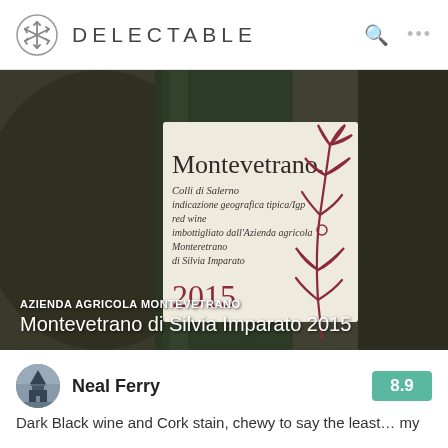DELECTABLE
[Figure (photo): Close-up photo of a Montevetrano wine bottle label showing 'Montevetrano. Colli di Salerno indicazione geografica tipica/Igp red wine imbottigliato dall'Azienda agricola Monteretrano di Silvia Imparato 2015' with a decorative red plant/flower motif on the right side of the label.]
AZIENDA AGRICOLA MONTEVETRANO
Montvetrano di Silvia Imparato 2015
Neal Ferry
8.9
Dark Black wine and Cork stain, chewy to say the least… my